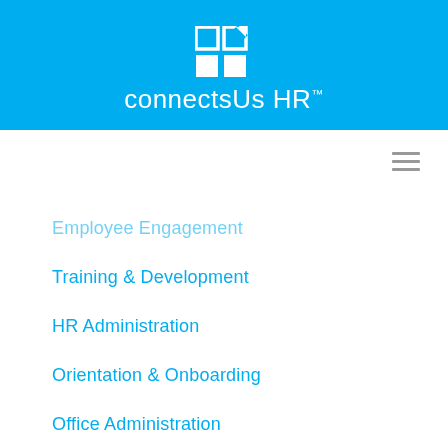[Figure (logo): connectsUs HR logo with icon on blue background header bar]
Employee Engagement
Training & Development
HR Administration
Orientation & Onboarding
Office Administration
Staff Departures
Staff Directory & Organizational Chart